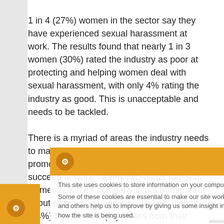1 in 4 (27%) women in the sector say they have experienced sexual harassment at work. The results found that nearly 1 in 3 women (30%) rated the industry as poor at protecting and helping women deal with sexual harassment, with only 4% rating the industry as good. This is unacceptable and needs to be tackled. There is a myriad of areas the industry needs to make significant improvements on to promote an inclusive culture and help women succeed at work. Nearly two-thirds (60%) of women feel their company is not transparent about progression and pay, and nearly half (44%) believe their pay differs from their male counterparts in their company.
[Figure (other): Cookie consent banner overlay with orange header containing gear/cookie icon and X close button, body text about cookies, and green 'I'm fine with this' button]